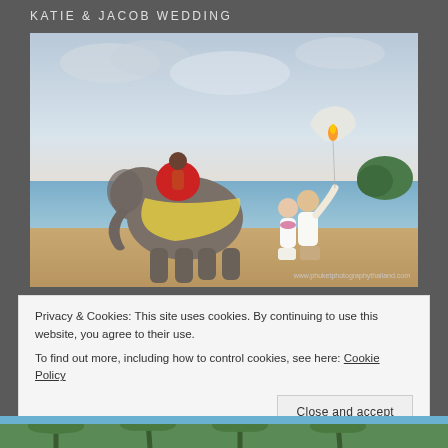KATIE & JACOB WEDDING
[Figure (photo): Wedding photo on a beach in Thailand: a couple kissing while releasing a sky lantern, with a decorated elephant standing beside them. Watermark reads www.phuketphotographythailand.com]
Privacy & Cookies: This site uses cookies. By continuing to use this website, you agree to their use.
To find out more, including how to control cookies, see here: Cookie Policy
Close and accept